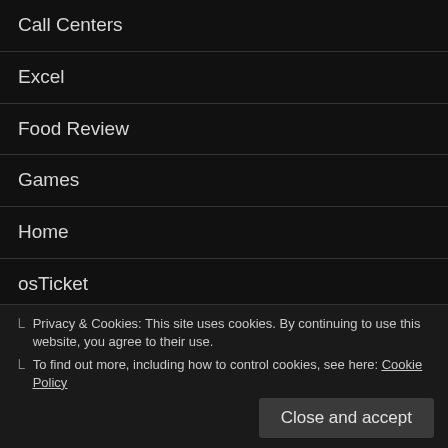Call Centers
Excel
Food Review
Games
Home
osTicket
People Management
Screenshots
Silly Stuff
Privacy & Cookies: This site uses cookies. By continuing to use this website, you agree to their use.
To find out more, including how to control cookies, see here: Cookie Policy
Close and accept